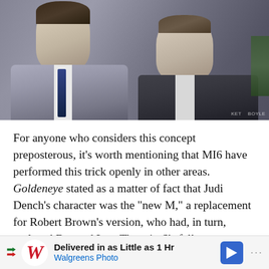[Figure (photo): Two men in suits, likely from a James Bond film. The man on the left has dark wavy hair and wears a grey suit with a blue tie. The man on the right is shorter with lighter hair and wears a dark suit. Both are looking toward the camera.]
For anyone who considers this concept preposterous, it’s worth mentioning that MI6 have performed this trick openly in other areas. Goldeneye stated as a matter of fact that Judi Dench’s character was the “new M,” a replacement for Robert Brown’s version, who had, in turn, replaced Bernard Lee. Then, in Skyfall, we see Ralph Fiennes take over from Emma and introduce Ben Whishaw’s version of Q, previously only played by the
[Figure (other): Advertisement banner: Walgreens Photo ad with logo and text 'Delivered in as Little as 1 Hr' and 'Walgreens Photo']